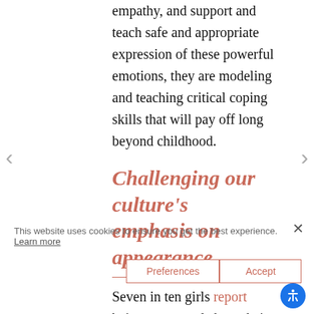empathy, and support and teach safe and appropriate expression of these powerful emotions, they are modeling and teaching critical coping skills that will pay off long beyond childhood.
Challenging our culture's emphasis on appearance
Seven in ten girls report being concerned about their appearance, specifically their looks and weight. Of course this is not surprising given the relative obsession our culture has around girls and unrealistic ideals of beauty. Girls are constantly slammed with a barrage of information